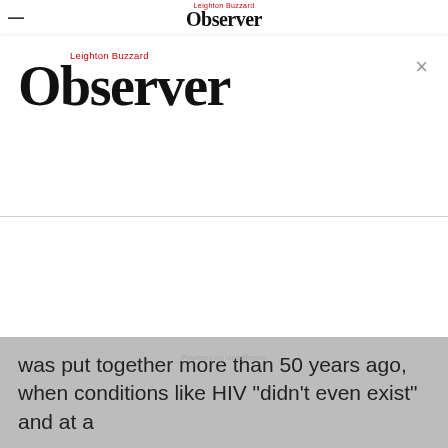— Observer Leighton Buzzard
[Figure (logo): Leighton Buzzard Observer newspaper logo in modal popup with red 'Leighton Buzzard' text above large bold 'Observer' serif wordmark, with a close (×) button]
was put together more than 50 years ago, when conditions like HIV "didn't even exist" and at a